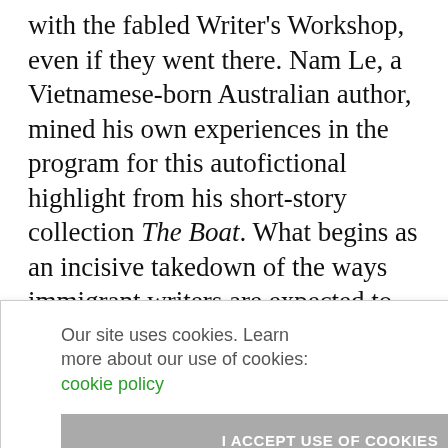with the fabled Writer's Workshop, even if they went there. Nam Le, a Vietnamese-born Australian author, mined his own experiences in the program for this autofictional highlight from his short-story collection The Boat. What begins as an incisive takedown of the ways immigrant writers are expected to cannibalize their own histories becomes a tender exploration of what a homeland can be, even if it's only a temporary one.
Our site uses cookies. Learn more about our use of cookies: cookie policy
I ACCEPT USE OF COOKIES
on Feb.